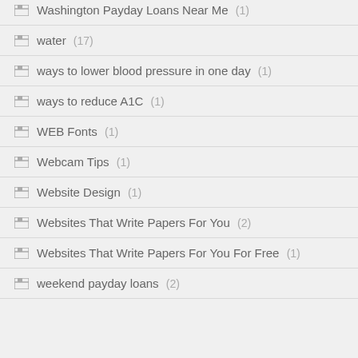Washington Payday Loans Near Me (1)
water (17)
ways to lower blood pressure in one day (1)
ways to reduce A1C (1)
WEB Fonts (1)
Webcam Tips (1)
Website Design (1)
Websites That Write Papers For You (2)
Websites That Write Papers For You For Free (1)
weekend payday loans (2)